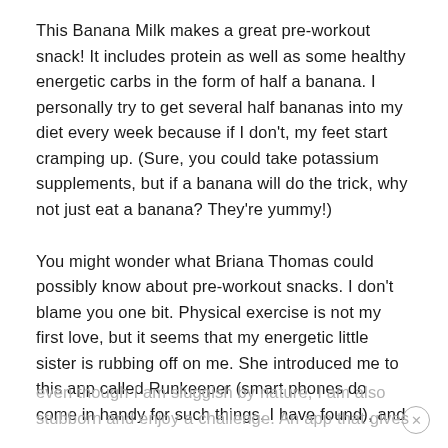This Banana Milk makes a great pre-workout snack! It includes protein as well as some healthy energetic carbs in the form of half a banana. I personally try to get several half bananas into my diet every week because if I don't, my feet start cramping up. (Sure, you could take potassium supplements, but if a banana will do the trick, why not just eat a banana? They're yummy!)
You might wonder what Briana Thomas could possibly know about pre-workout snacks. I don't blame you one bit. Physical exercise is not my first love, but it seems that my energetic little sister is rubbing off on me. She introduced me to this app called Runkeeper (smart phones do come in handy for such things, I have found), and even though I am sluggish by nature, I am also stubborn and enjoy a challenge. An app that gives